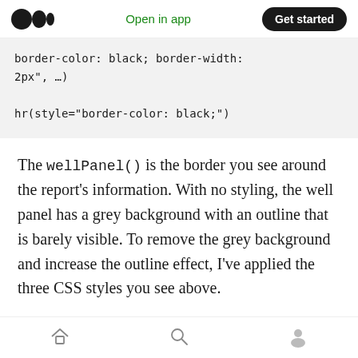Medium logo | Open in app | Get started
border-color: black; border-width: 2px", …)

hr(style="border-color: black;")
The wellPanel() is the border you see around the report's information. With no styling, the well panel has a grey background with an outline that is barely visible. To remove the grey background and increase the outline effect, I've applied the three CSS styles you see above.
The hr() is the horizontal line placed above the
Home | Search | Profile